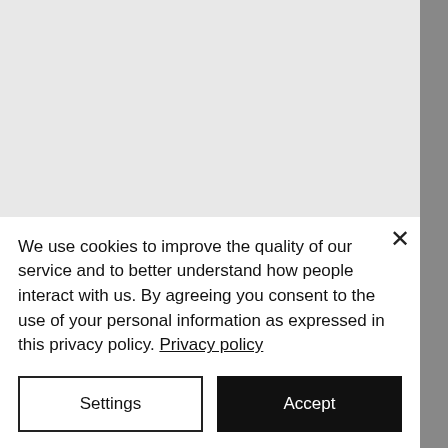[Figure (screenshot): Light gray background area representing a webpage screenshot with a faint 'kapteos' watermark/logo in the center]
We use cookies to improve the quality of our service and to better understand how people interact with us. By agreeing you consent to the use of your personal information as expressed in this privacy policy. Privacy policy
Settings
Accept